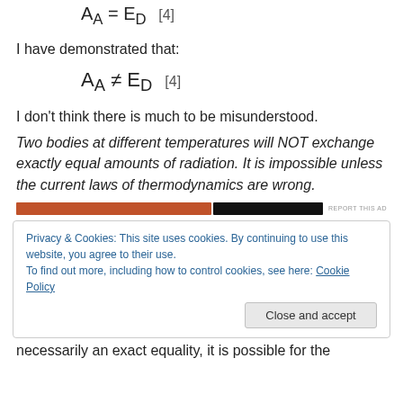I have demonstrated that:
I don't think there is much to be misunderstood.
Two bodies at different temperatures will NOT exchange exactly equal amounts of radiation. It is impossible unless the current laws of thermodynamics are wrong.
[Figure (other): Advertisement bar with orange and black segments and REPORT THIS AD label]
Privacy & Cookies: This site uses cookies. By continuing to use this website, you agree to their use. To find out more, including how to control cookies, see here: Cookie Policy
necessarily an exact equality, it is possible for the